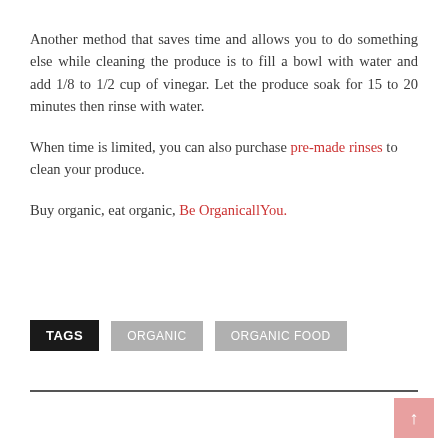Another method that saves time and allows you to do something else while cleaning the produce is to fill a bowl with water and add 1/8 to 1/2 cup of vinegar. Let the produce soak for 15 to 20 minutes then rinse with water.
When time is limited, you can also purchase pre-made rinses to clean your produce.
Buy organic, eat organic, Be OrganicallYou.
TAGS  ORGANIC  ORGANIC FOOD
↑